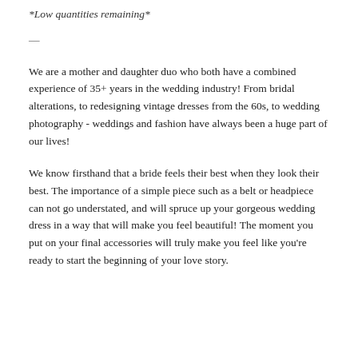*Low quantities remaining*
—
We are a mother and daughter duo who both have a combined experience of 35+ years in the wedding industry! From bridal alterations, to redesigning vintage dresses from the 60s, to wedding photography - weddings and fashion have always been a huge part of our lives!
We know firsthand that a bride feels their best when they look their best. The importance of a simple piece such as a belt or headpiece can not go understated, and will spruce up your gorgeous wedding dress in a way that will make you feel beautiful! The moment you put on your final accessories will truly make you feel like you're ready to start the beginning of your love story.